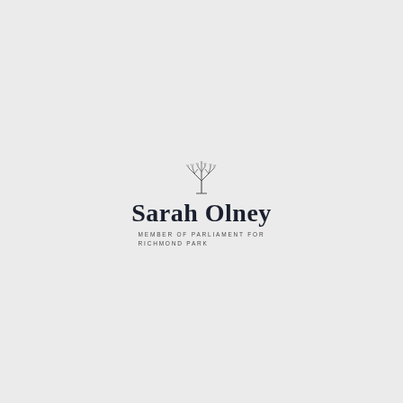[Figure (logo): Sarah Olney MP logo featuring a bare winter tree illustration above the name 'Sarah Olney' in large serif bold font, with subtitle 'MEMBER OF PARLIAMENT FOR RICHMOND PARK' in small spaced capitals]